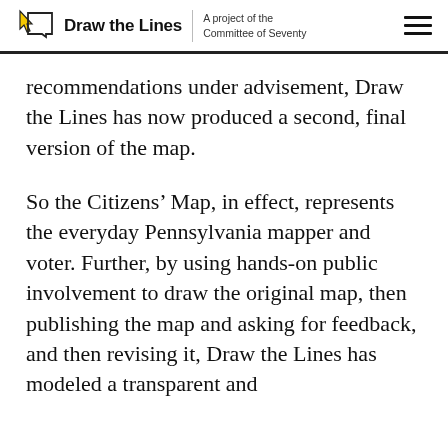Draw the Lines | A project of the Committee of Seventy
recommendations under advisement, Draw the Lines has now produced a second, final version of the map.
So the Citizens’ Map, in effect, represents the everyday Pennsylvania mapper and voter. Further, by using hands-on public involvement to draw the original map, then publishing the map and asking for feedback, and then revising it, Draw the Lines has modeled a transparent and